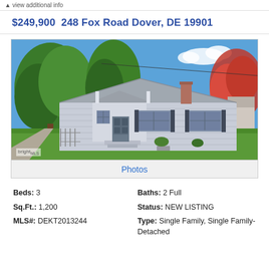view additional info
$249,900  248 Fox Road Dover, DE 19901
[Figure (photo): Exterior photo of a single-story ranch-style house with blue-gray siding, white trim, covered front entry, two windows with dark shutters, a chimney, surrounded by large green trees and a red flowering tree, with a green lawn in front. Bright MLS watermark in bottom-left corner.]
Photos
Beds: 3
Baths: 2 Full
Sq.Ft.: 1,200
Status: NEW LISTING
MLS#: DEKT2013244
Type: Single Family, Single Family-Detached